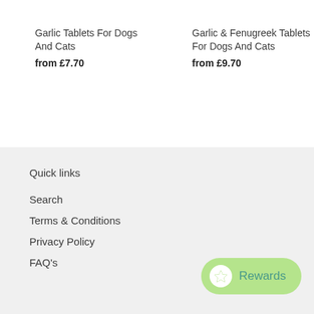Garlic Tablets For Dogs And Cats
from £7.70
Garlic & Fenugreek Tablets For Dogs And Cats
from £9.70
Quick links
Search
Terms & Conditions
Privacy Policy
FAQ's